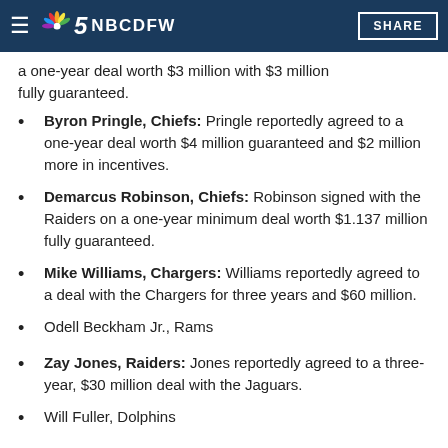NBC DFW
a one-year deal worth $3 million with $3 million fully guaranteed.
Byron Pringle, Chiefs: Pringle reportedly agreed to a one-year deal worth $4 million guaranteed and $2 million more in incentives.
Demarcus Robinson, Chiefs: Robinson signed with the Raiders on a one-year minimum deal worth $1.137 million fully guaranteed.
Mike Williams, Chargers: Williams reportedly agreed to a deal with the Chargers for three years and $60 million.
Odell Beckham Jr., Rams
Zay Jones, Raiders: Jones reportedly agreed to a three-year, $30 million deal with the Jaguars.
Will Fuller, Dolphins